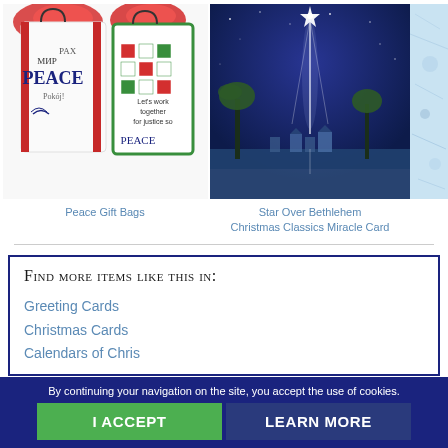[Figure (photo): Peace Gift Bags product photo showing colorful Christmas gift bags with 'PEACE' text in multiple languages, wrapped with red tissue paper]
Peace Gift Bags
[Figure (photo): Star Over Bethlehem Christmas card image showing a bright star shining over a desert scene with palm trees and a village]
Star Over Bethlehem
Christmas Classics Miracle Card
[Figure (photo): Partial view of a third product image on the right edge]
Find more items like this in:
Greeting Cards
Christmas Cards
Calendars of Christmas
By continuing your navigation on the site, you accept the use of cookies.
I ACCEPT
LEARN MORE